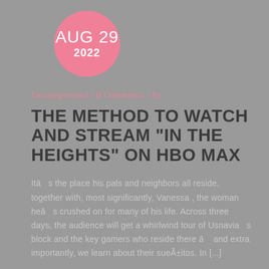AUG 29
2022
Uncategorized / 0 Comments / by
THE METHOD TO WATCH AND STREAM "IN THE HEIGHTS" ON HBO MAX
Itā s the place his pals and neighbors all reside, together with, most significantly, Vanessa , the woman heā s crushed on for many of his life. Across three days, the audience will get a whirlwind tour of Usnavia s block and the key gamers who reside there ā and extra importantly, we learn about their sueÃ±itos. In [...]